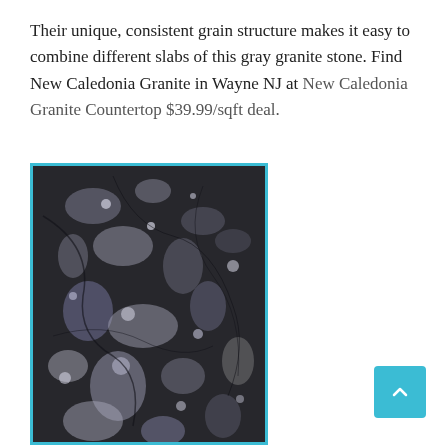Their unique, consistent grain structure makes it easy to combine different slabs of this gray granite stone. Find New Caledonia Granite in Wayne NJ at New Caledonia Granite Countertop $39.99/sqft deal.
[Figure (photo): Close-up photograph of New Caledonia granite stone surface showing dark black/charcoal base with grey and white mineral speckles and crystal formations, bordered by a teal/cyan frame.]